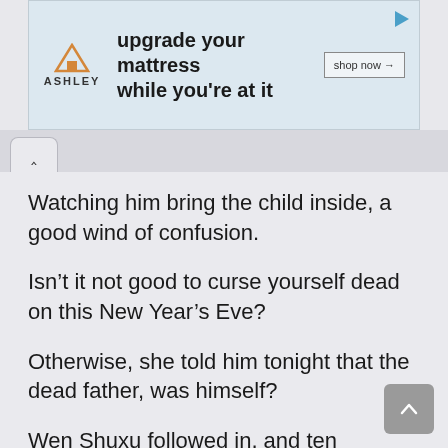[Figure (other): Ashley Furniture advertisement banner with logo, text 'upgrade your mattress while you’re at it', and 'shop now →' button]
Watching him bring the child inside, a good wind of confusion.
Isn’t it not good to curse yourself dead on this New Year’s Eve?
Otherwise, she told him tonight that the dead father, was himself?
Wen Shuxu followed in, and ten minutes or so later, all the dishes